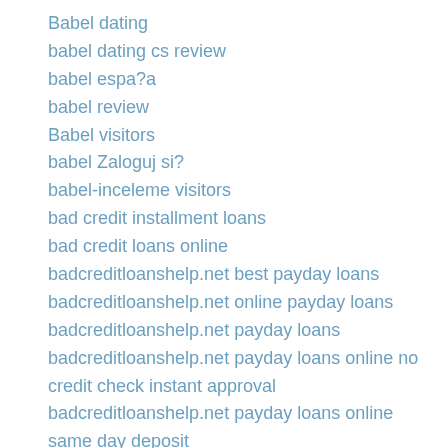Babel dating
babel dating cs review
babel espa?a
babel review
Babel visitors
babel Zaloguj si?
babel-inceleme visitors
bad credit installment loans
bad credit loans online
badcreditloanshelp.net best payday loans
badcreditloanshelp.net online payday loans
badcreditloanshelp.net payday loans
badcreditloanshelp.net payday loans online no credit check instant approval
badcreditloanshelp.net payday loans online same day deposit
Badoo brancher
badoo dating